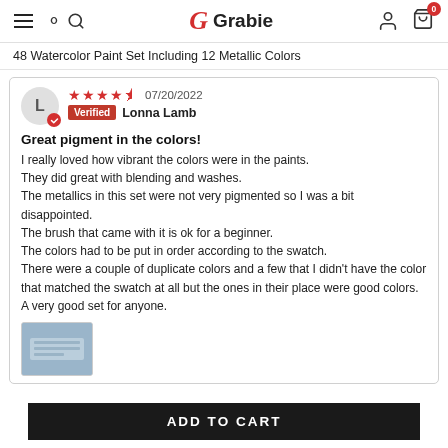Grabie — navigation header with hamburger menu, search, logo, account, and cart (0 items)
48 Watercolor Paint Set Including 12 Metallic Colors
★★★★½  07/20/2022  Verified  Lonna Lamb
Great pigment in the colors!
I really loved how vibrant the colors were in the paints. They did great with blending and washes.
The metallics in this set were not very pigmented so I was a bit disappointed.
The brush that came with it is ok for a beginner.
The colors had to be put in order according to the swatch.
There were a couple of duplicate colors and a few that I didn't have the color that matched the swatch at all but the ones in their place were good colors.
A very good set for anyone.
[Figure (photo): Thumbnail photo of the watercolor paint set product]
ADD TO CART